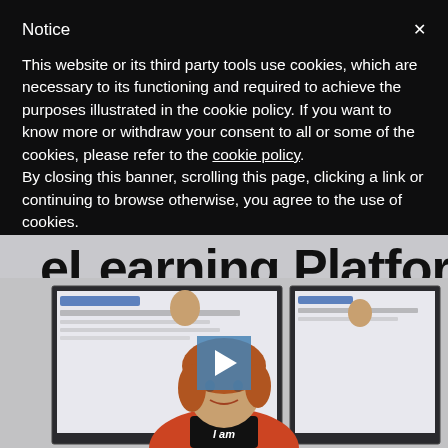Notice
This website or its third party tools use cookies, which are necessary to its functioning and required to achieve the purposes illustrated in the cookie policy. If you want to know more or withdraw your consent to all or some of the cookies, please refer to the cookie policy.
By closing this banner, scrolling this page, clicking a link or continuing to browse otherwise, you agree to the use of cookies.
eLearning Platform
[Figure (photo): Woman with auburn hair wearing a red blazer and black shirt standing in front of two monitors showing a website. A video play button is overlaid in the center.]